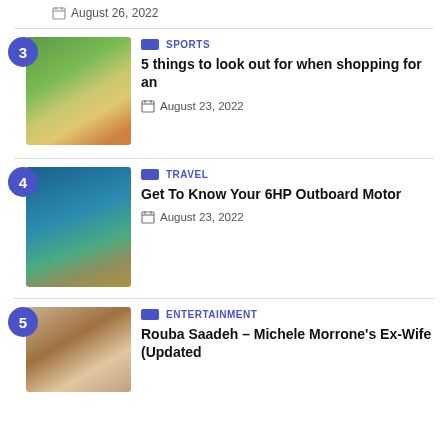August 26, 2022
3 | SPORTS | 5 things to look out for when shopping for an | August 23, 2022
4 | TRAVEL | Get To Know Your 6HP Outboard Motor | August 23, 2022
5 | ENTERTAINMENT | Rouba Saadeh – Michele Morrone's Ex-Wife (Updated